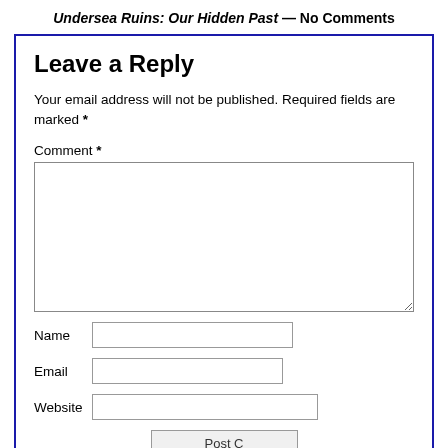Undersea Ruins: Our Hidden Past — No Comments
Leave a Reply
Your email address will not be published. Required fields are marked *
Comment *
Name
Email
Website